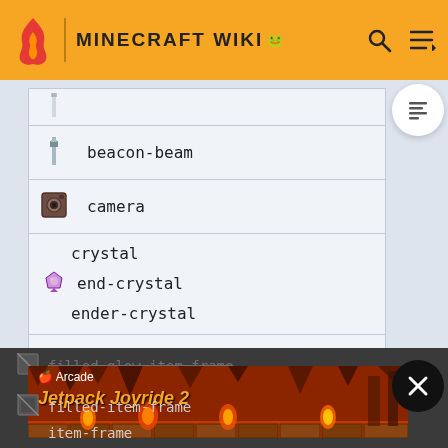MINECRAFT WIKI
beacon-beam
camera
crystal
end-crystal
ender-crystal
empty-glow-item-frame
empty-item-frame
filled-glow-item-frame
filled-item-frame
item-frame
[Figure (screenshot): Apple Arcade advertisement banner showing Jetpack Joyride 2 game]